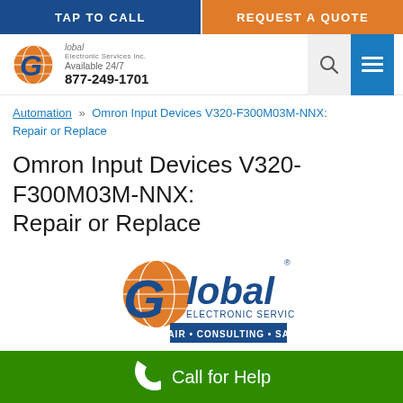TAP TO CALL | REQUEST A QUOTE
[Figure (logo): Global Electronic Services Inc. logo with globe icon, 'Available 24/7', '877-249-1701']
Automation » Omron Input Devices V320-F300M03M-NNX: Repair or Replace
Omron Input Devices V320-F300M03M-NNX: Repair or Replace
[Figure (logo): Global Electronic Services Inc. large center logo — REPAIR • CONSULTING • SALES]
Call for Help